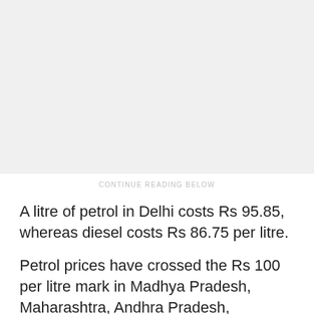[Figure (other): Advertisement placeholder area — light grey background]
CONTINUE READING BELOW
A litre of petrol in Delhi costs Rs 95.85, whereas diesel costs Rs 86.75 per litre.
Petrol prices have crossed the Rs 100 per litre mark in Madhya Pradesh, Maharashtra, Andhra Pradesh, Telangana, Rajasthan and